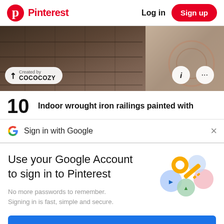Pinterest   Log in   Sign up
[Figure (photo): Staircase with dark wrought iron railings, viewed from above. Overlay badge reads 'Created by COCOCOZY' with info and more buttons.]
10   Indoor wrought iron railings painted with
Sign in with Google
Use your Google Account to sign in to Pinterest
No more passwords to remember. Signing in is fast, simple and secure.
[Figure (illustration): Google sign-in key illustration with colorful circles and a gold key]
Continue